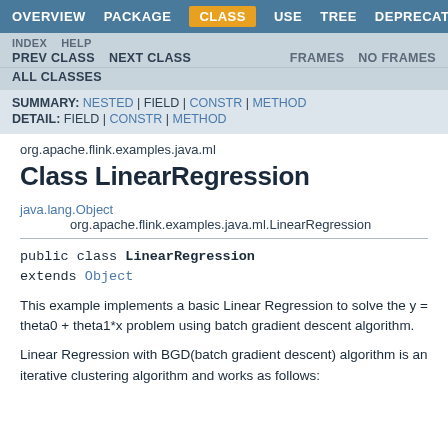OVERVIEW  PACKAGE  CLASS  USE  TREE  DEPRECATED
INDEX  HELP  PREV CLASS  NEXT CLASS  FRAMES  NO FRAMES  ALL CLASSES
SUMMARY: NESTED | FIELD | CONSTR | METHOD  DETAIL: FIELD | CONSTR | METHOD
org.apache.flink.examples.java.ml
Class LinearRegression
java.lang.Object
    org.apache.flink.examples.java.ml.LinearRegression
public class LinearRegression
extends Object
This example implements a basic Linear Regression to solve the y = theta0 + theta1*x problem using batch gradient descent algorithm.
Linear Regression with BGD(batch gradient descent) algorithm is an iterative clustering algorithm and works as follows: